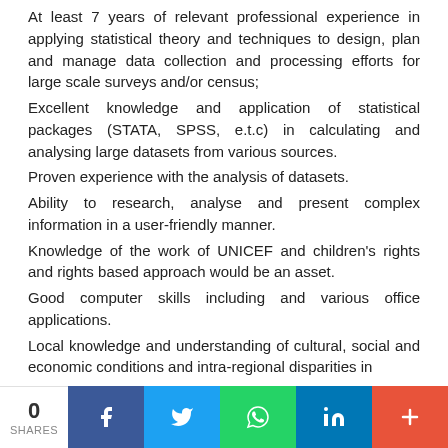At least 7 years of relevant professional experience in applying statistical theory and techniques to design, plan and manage data collection and processing efforts for large scale surveys and/or census;
Excellent knowledge and application of statistical packages (STATA, SPSS, e.t.c) in calculating and analysing large datasets from various sources.
Proven experience with the analysis of datasets.
Ability to research, analyse and present complex information in a user-friendly manner.
Knowledge of the work of UNICEF and children's rights and rights based approach would be an asset.
Good computer skills including and various office applications.
Local knowledge and understanding of cultural, social and economic conditions and intra-regional disparities in